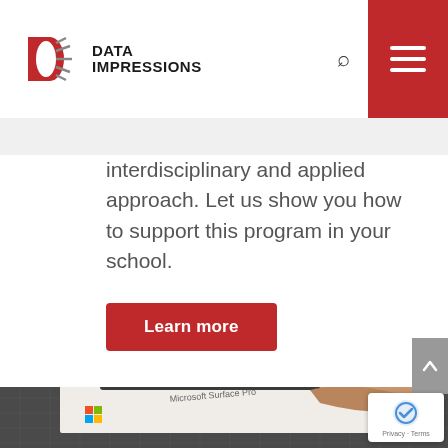DATA IMPRESSIONS
interdisciplinary and applied approach. Let us show you how to support this program in your school.
Learn more
[Figure (photo): A hand holding a Microsoft Surface Pro tablet, lifting it from its box on a wire rack shelf.]
Privacy · Terms